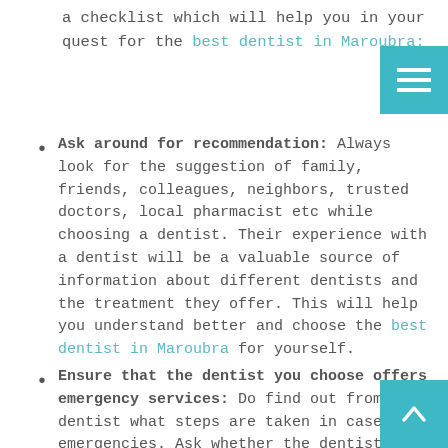a checklist which will help you in your quest for the best dentist in Maroubra:
Ask around for recommendation: Always look for the suggestion of family, friends, colleagues, neighbors, trusted doctors, local pharmacist etc while choosing a dentist. Their experience with a dentist will be a valuable source of information about different dentists and the treatment they offer. This will help you understand better and choose the best dentist in Maroubra for yourself.
Ensure that the dentist you choose offers emergency services: Do find out from your dentist what steps are taken in cases of emergencies. Ask whether the dentist or a trained substitute will be around and whether you will be able to personally contact them.
Make sure your dentist is licensed: Choosing from among the best dentist in Maroubra is a daunting